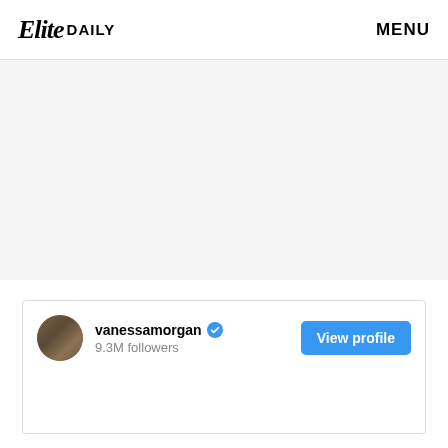Elite DAILY  MENU
[Figure (other): Gray banner/advertisement area below header]
[Figure (screenshot): Instagram profile embed card for vanessamorgan with 9.3M followers and a View profile button]